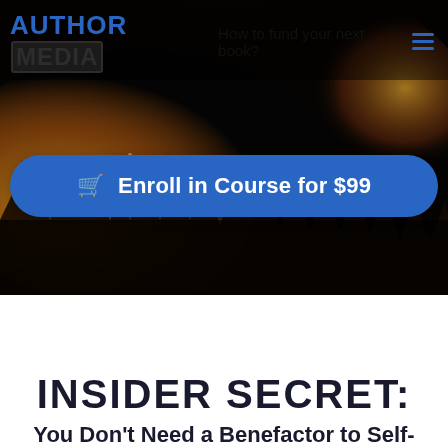[Figure (photo): Concert crowd with hands raised, lit by warm amber/yellow stage lights, dark background. Used as hero banner background for Author Media website.]
AUTHOR MEDIA | How to fund your next book?
Enroll in Course for $99
INSIDER SECRET:
You Don't Need a Benefactor to Self-